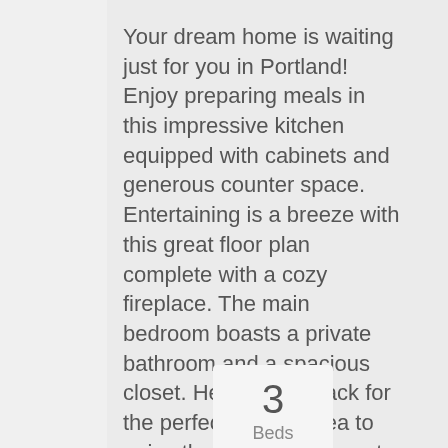Your dream home is waiting just for you in Portland! Enjoy preparing meals in this impressive kitchen equipped with cabinets and generous counter space. Entertaining is a breeze with this great floor plan complete with a cozy fireplace. The main bedroom boasts a private bathroom and a spacious closet. Head to the back for the perfect private area to enjoy the outdoors. A must see!
Courtesy Of Opendoor Brokerage LLC
3
Beds